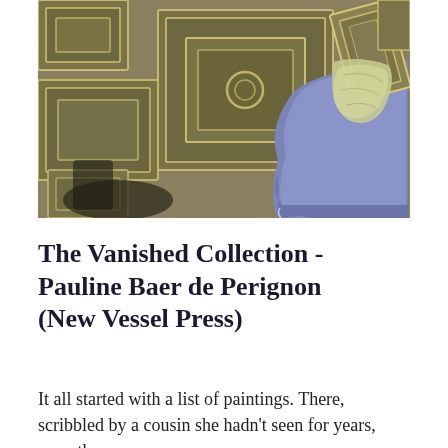[Figure (illustration): A close-up painting detail showing ornate picture frames with square and rectangular gilded borders arranged on a textured wall, and a blue upholstered chair with a draped cloth in the upper right corner.]
The Vanished Collection - Pauline Baer de Perignon (New Vessel Press)
It all started with a list of paintings. There, scribbled by a cousin she hadn't seen for years, were the